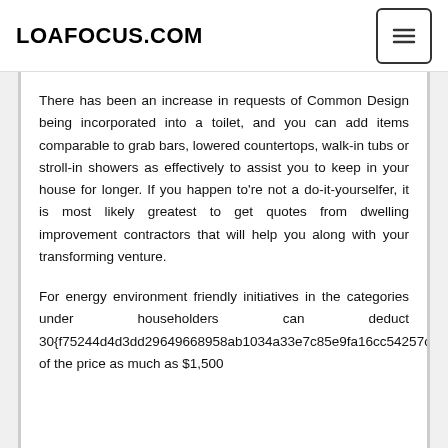LOAFOCUS.COM
There has been an increase in requests of Common Design being incorporated into a toilet, and you can add items comparable to grab bars, lowered countertops, walk-in tubs or stroll-in showers as effectively to assist you to keep in your house for longer. If you happen to’re not a do-it-yourselfer, it is most likely greatest to get quotes from dwelling improvement contractors that will help you along with your transforming venture.
For energy environment friendly initiatives in the categories under householders can deduct 30{f75244d4d3dd29649668958ab1034a33e7c85e9fa16cc54257cc1b4f20ab87a2} of the price as much as $1,500